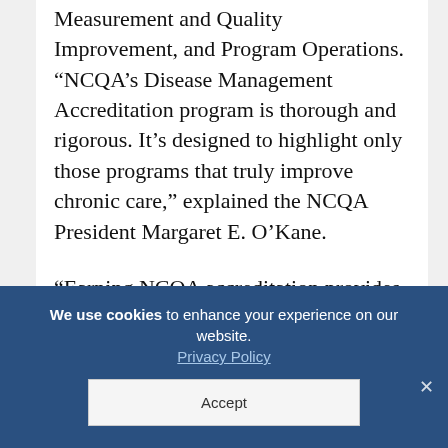Measurement and Quality Improvement, and Program Operations. “NCQA’s Disease Management Accreditation program is thorough and rigorous. It’s designed to highlight only those programs that truly improve chronic care,” explained the NCQA President Margaret E. O’Kane.
“Earning NCQA accreditation provides our clients with further assurance as to the quality of our care management
We use cookies to enhance your experience on our website. Privacy Policy Accept